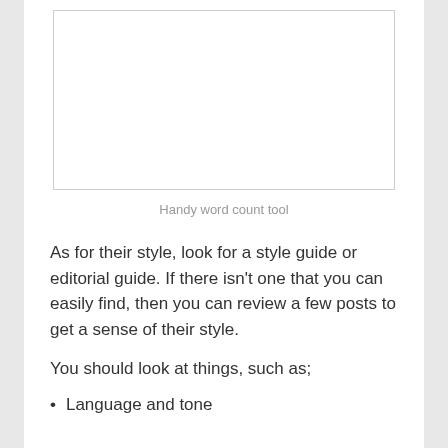[Figure (screenshot): Screenshot of a handy word count tool interface — a white rectangular box with a border]
Handy word count tool
As for their style, look for a style guide or editorial guide. If there isn't one that you can easily find, then you can review a few posts to get a sense of their style.
You should look at things, such as;
Language and tone